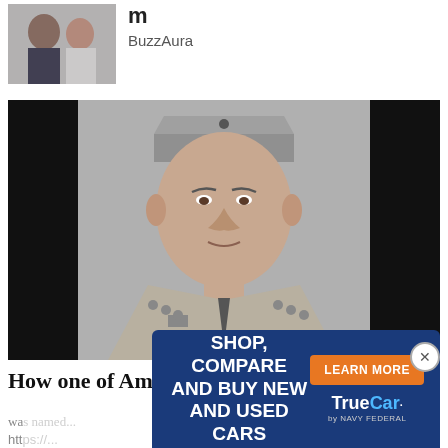[Figure (photo): Thumbnail photo of two women, partially visible, top-left corner of page]
m
BuzzAura
[Figure (photo): Black and white portrait photo of a Marine officer in uniform wearing a garrison cap with rank insignia]
How one of America’s saltiest Marines
wa...
htt...
[Figure (other): TrueCar by Navy Federal advertisement overlay: dark blue banner with text SHOP, COMPARE AND BUY NEW AND USED CARS, orange LEARN MORE button, and TrueCar by Navy Federal logo]